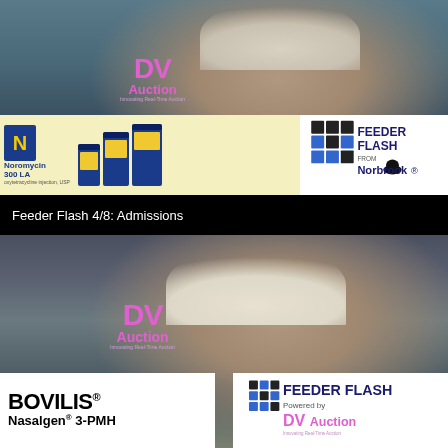[Figure (screenshot): Video thumbnail showing man in white cowboy hat with DV Auction laptop screen, Noromycin 300 LA advertisement banner at bottom left, Feeder Flash from Norbrook logo at bottom right]
Feeder Flash 4/8: Admissions
[Figure (screenshot): Video thumbnail showing man in tan cowboy hat with DV Auction laptop screen, Bovilis Nasalgen 3-PMH advertisement at bottom left, Feeder Flash Powered by DVAuction logo at bottom right]